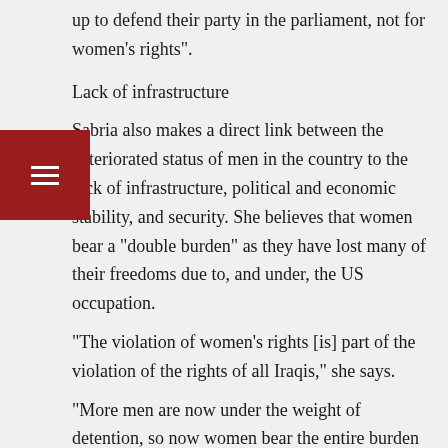up to defend their party in the parliament, not for women's rights".
Lack of infrastructure
Sabria also makes a direct link between the deteriorated status of men in the country to the lack of infrastructure, political and economic stability, and security. She believes that women bear a "double burden" as they have lost many of their freedoms due to, and under, the US occupation.
"The violation of women's rights [is] part of the violation of the rights of all Iraqis," she says.
"More men are now under the weight of detention, so now women bear the entire burden of the family and are obliged to provide full support to the families and children. At the same time, women do not have freedom of movement because of the deteriorated security conditions and because of abductions of women and children by criminal gangs."
Women, she says, are also now under pressure to marry at a younger